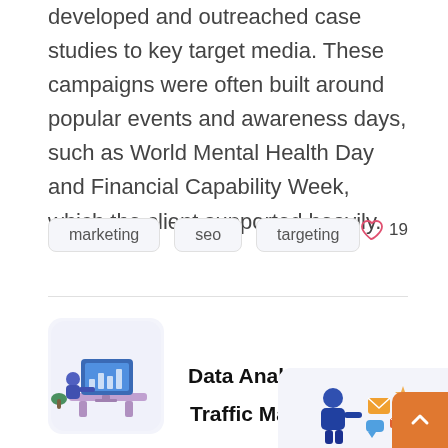developed and outreached case studies to key target media. These campaigns were often built around popular events and awareness days, such as World Mental Health Day and Financial Capability Week, which the client supported heavily.
marketing
seo
targeting
19
[Figure (illustration): Data Analysis card with illustration of person at computer desk with data charts]
Data Analysis
[Figure (illustration): Traffic Management card with illustration of person with marketing icons]
Traffic Management